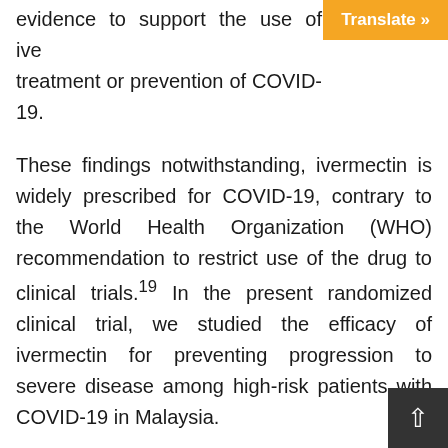evidence to support the use of ivermectin for treatment or prevention of COVID-19.
These findings notwithstanding, ivermectin is widely prescribed for COVID-19, contrary to the World Health Organization (WHO) recommendation to restrict use of the drug to clinical trials.19 In the present randomized clinical trial, we studied the efficacy of ivermectin for preventing progression to severe disease among high-risk patients with COVID-19 in Malaysia.
Methods
Trial Design and Patients
The Ivermectin Treatment Efficacy in COVID-19 High-Risk Patients (I-TECH) study was a multicenter, open-label, randomized clinical trial conducted at 20 government hospitals and a COVID-19 quarantine